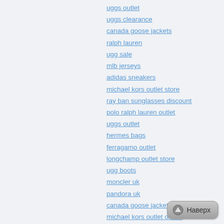uggs outlet
uggs clearance
canada goose jackets
ralph lauren
ugg sale
mlb jerseys
adidas sneakers
michael kors outlet store
ray ban sunglasses discount
polo ralph lauren outlet
uggs outlet
hermes bags
ferragamo outlet
longchamp outlet store
ugg boots
moncler uk
pandora uk
canada goose jacket
michael kors outlet online
adidas yeezy boost 350
burberry handbags
uggs on sale